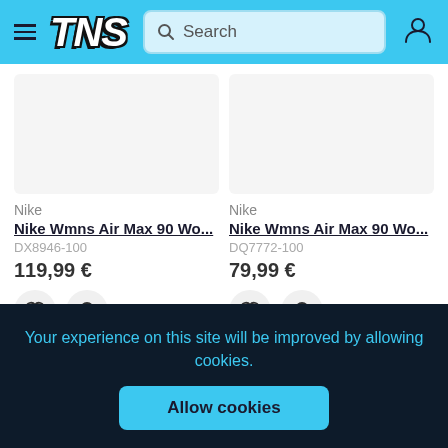TNS — Search header with hamburger menu and user icon
Nike
Nike Wmns Air Max 90 Wo...
DX8946-100
119,99 €
Nike
Nike Wmns Air Max 90 Wo...
DQ7772-100
79,99 €
Your experience on this site will be improved by allowing cookies.
Allow cookies